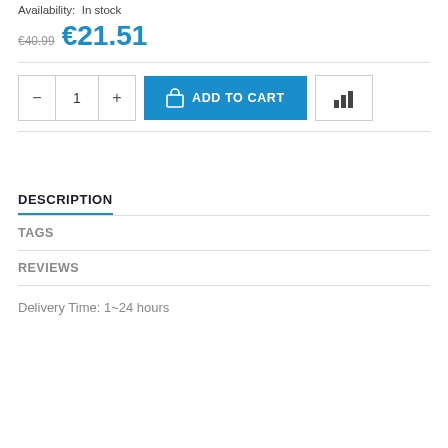Availability:  In stock
€40.99 €21.51
[Figure (other): Add to cart widget: quantity selector (minus, 1, plus), blue ADD TO CART button with shopping bag icon, and a bar chart icon button]
DESCRIPTION
TAGS
REVIEWS
Delivery Time: 1~24 hours